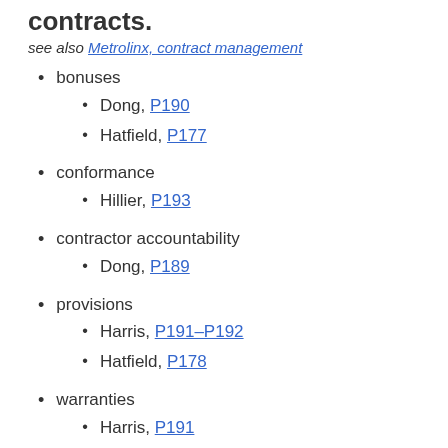contracts.
see also Metrolinx, contract management
bonuses
Dong, P190
Hatfield, P177
conformance
Hillier, P193
contractor accountability
Dong, P189
provisions
Harris, P191–P192
Hatfield, P178
warranties
Harris, P191